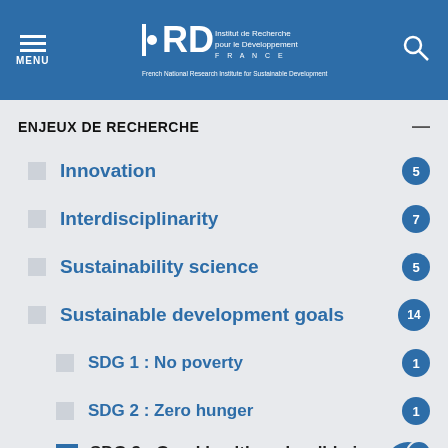MENU | IRD Institut de Recherche pour le Développement FRANCE — French National Research Institute for Sustainable Development
ENJEUX DE RECHERCHE
Innovation 5
Interdisciplinarity 7
Sustainability science 5
Sustainable development goals 14
SDG 1 : No poverty 1
SDG 2 : Zero hunger 1
SDG 3 : Good health and well-being 4
SDG 4 : Quality education 1